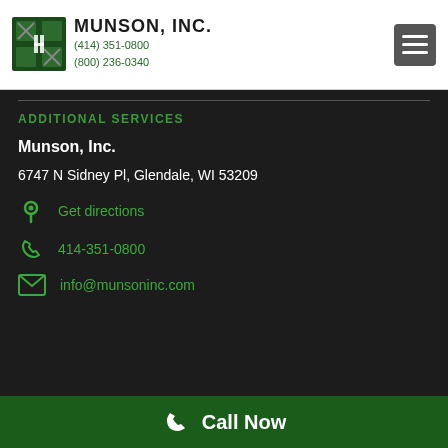MUNSON, INC. (414) 351-0800 (800) 236-0340
ADDITIONAL SERVICES
Munson, Inc.
6747 N Sidney Pl, Glendale, WI 53209
Get directions
414-351-0800
info@munsoninc.com
Call Now